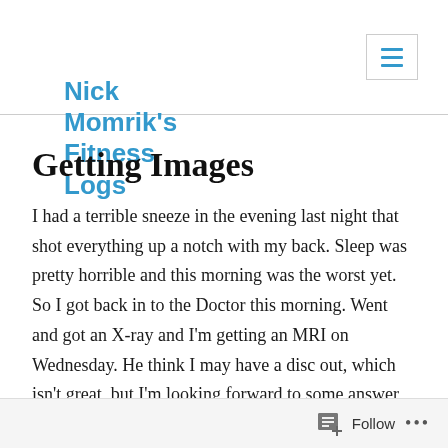Nick Momrik's Fitness Logs
Getting Images
I had a terrible sneeze in the evening last night that shot everything up a notch with my back. Sleep was pretty horrible and this morning was the worst yet. So I got back in to the Doctor this morning. Went and got an X-ray and I'm getting an MRI on Wednesday. He think I may have a disc out, which isn't great, but I'm looking forward to some answer, eliminating the pain, and hopefully correcting my issues. I also got some pain drugs, but not sure I'll
Follow